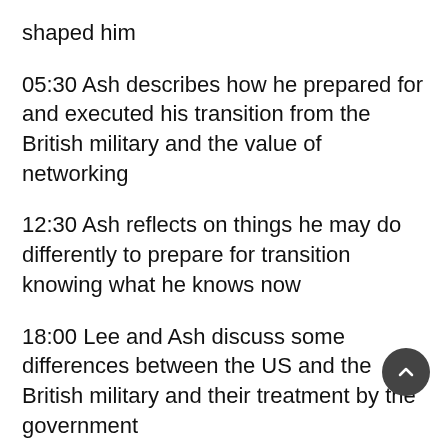shaped him
05:30 Ash describes how he prepared for and executed his transition from the British military and the value of networking
12:30 Ash reflects on things he may do differently to prepare for transition knowing what he knows now
18:00 Lee and Ash discuss some differences between the US and the British military and their treatment by the government
22:03 Ash describes the work he did as a